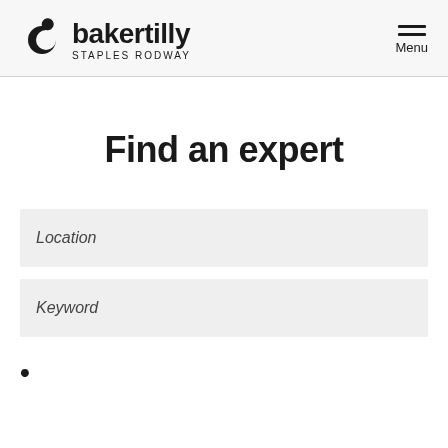bakertilly STAPLES RODWAY Menu
Find an expert
Location
Keyword
•